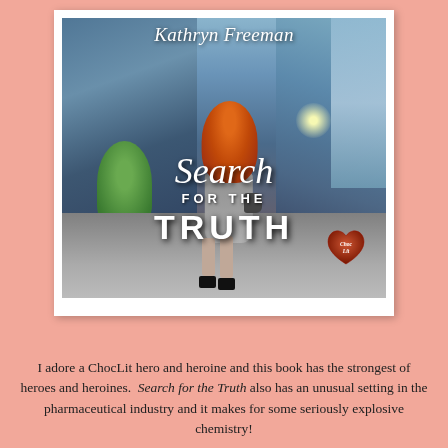[Figure (illustration): Book cover for 'Search for the Truth' by Kathryn Freeman. Shows a woman with long red hair, viewed from behind, wearing a grey dress and black heels, walking between tall glass city buildings. The ChocLit publisher heart logo appears in the lower right. Title text on cover reads 'Search for the Truth' in script and serif fonts.]
I adore a ChocLit hero and heroine and this book has the strongest of heroes and heroines.  Search for the Truth also has an unusual setting in the pharmaceutical industry and it makes for some seriously explosive chemistry!